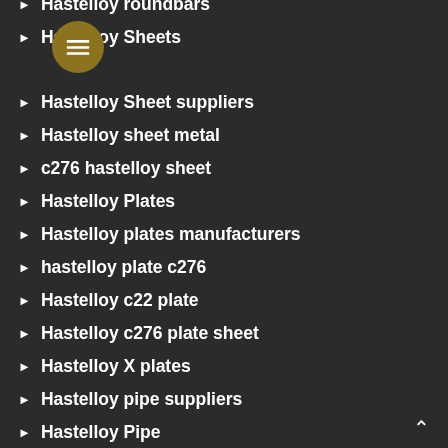Hastelloy roundbars
Hastelloy Sheets
Hastelloy Sheet suppliers
Hastelloy sheet metal
c276 hastelloy sheet
Hastelloy Plates
Hastelloy plates manufacturers
hastelloy plate c276
Hastelloy c22 plate
Hastelloy c276 plate sheet
Hastelloy X plates
Hastelloy pipe suppliers
Hastelloy Pipe
Hastelloy Pipe Fittings